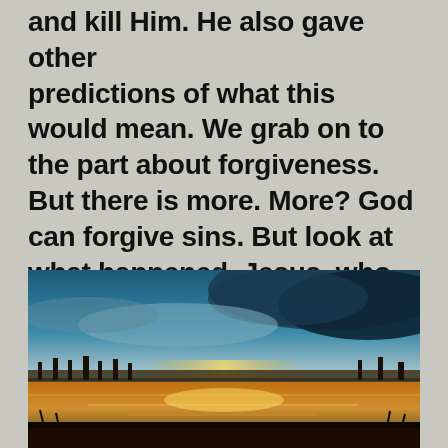and kill Him. He also gave other predictions of what this would mean. We grab on to the part about forgiveness. But there is more. More? God can forgive sins. But look at what happened. Jesus, who no one could say was bad. Not Pilate, nor any fair-minded people in Israel. Who could say that he did anything bad? The final accusation was that he claimed to be the Messiah.
[Figure (photo): Landscape photo of a sunset or sunrise over a body of water with dramatic clouds in the sky, silhouetted treeline, and warm orange/golden reflections on the water surface.]